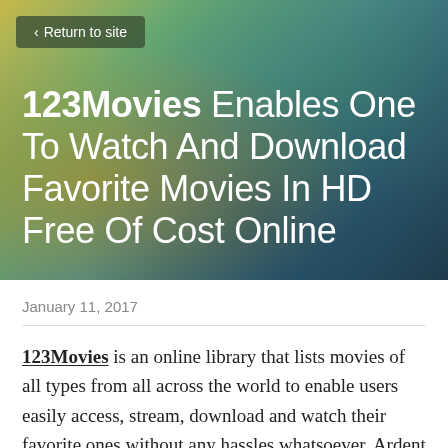[Figure (illustration): Hero banner with colorful gradient background (yellow-green-teal-dark blue) containing a Return to site button and the article title.]
123Movies Enables One To Watch And Download Favorite Movies In HD Free Of Cost Online
January 11, 2017
123Movies is an online library that lists movies of all types from all across the world to enable users easily access, stream, download and watch their favorite ones without any hassles whatsoever. Ardent movie fans never want to miss any movie that they love. For those who do not find time and